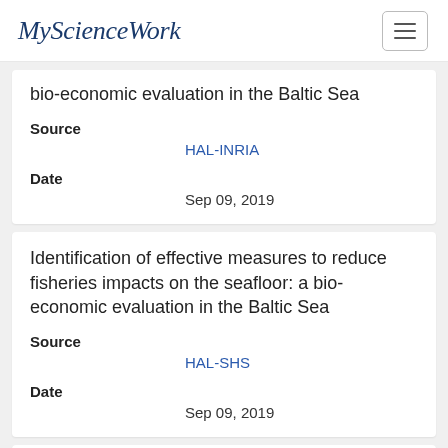My Science Work
bio-economic evaluation in the Baltic Sea
Source
HAL-INRIA
Date
Sep 09, 2019
Identification of effective measures to reduce fisheries impacts on the seafloor: a bio-economic evaluation in the Baltic Sea
Source
HAL-SHS
Date
Sep 09, 2019